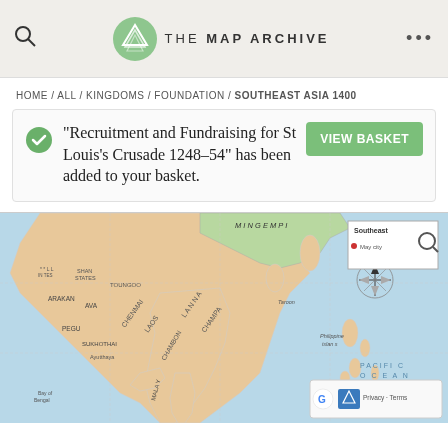THE MAP ARCHIVE
HOME / ALL / KINGDOMS / FOUNDATION / SOUTHEAST ASIA 1400
"Recruitment and Fundraising for St Louis's Crusade 1248–54" has been added to your basket.
[Figure (map): Map of Southeast Asia circa 1400 showing kingdoms: Ming Empire, Toungoo, Shan States, Arakan, Ava, Pegu, Sukhothai, Ayutthaya, Champa, Malayan Peninsula, and Pacific Ocean with Philippine Islands. Compass rose visible. Inset search box in corner.]